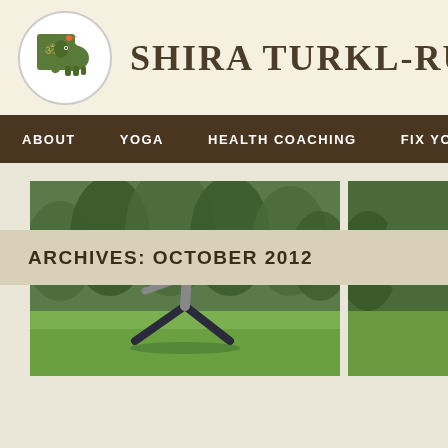SHIRA TURKL-RUBIN R...
ABOUT | YOGA | HEALTH COACHING | FIX YO...
[Figure (photo): Woman performing a yoga warrior pose outdoors on grass with trees in background]
[Figure (photo): Partial view of a second photo on the right side]
ARCHIVES: OCTOBER 2012